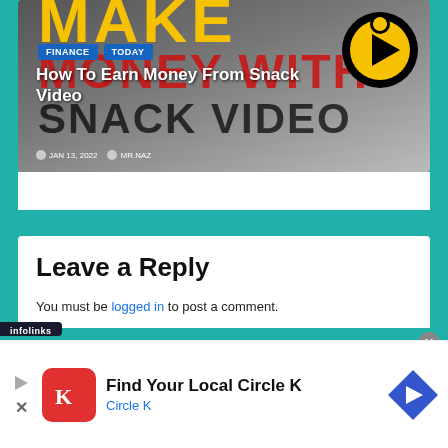[Figure (screenshot): Thumbnail image for a blog post titled 'How To Earn Money From Snack Video' with FINANCE and TODAY badges, dated JAN 13, 2022, by MR.NAZ. Background shows bold text MAKE, MONEY WITH, SNACK VIDEO and a Snack Video logo.]
How To Earn Money From Snack Video
JAN 13, 2022   MR.NAZ
Leave a Reply
You must be logged in to post a comment.
[Figure (screenshot): Advertisement banner for Circle K: 'Find Your Local Circle K' with Circle K logo and navigation arrow icon. Includes infolinks branding and close/play controls.]